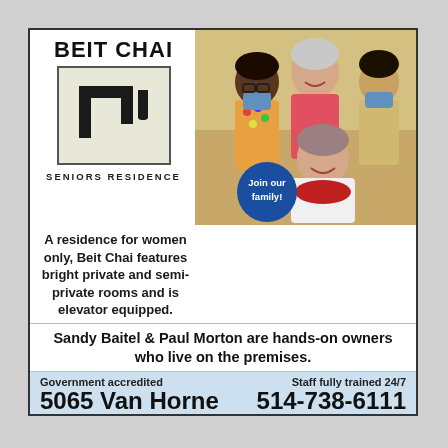[Figure (logo): Beit Chai Seniors Residence logo with Hebrew Chai character in a bordered box]
[Figure (photo): Photo of elderly woman in wheelchair with three caregivers, two wearing masks, in a warm indoor setting. Blue circular badge reads 'Join our family!']
A residence for women only, Beit Chai features bright private and semi-private rooms and is elevator equipped.
Sandy Baitel & Paul Morton are hands-on owners who live on the premises.
Government accredited
Staff fully trained 24/7
5065 Van Horne
514-738-6111